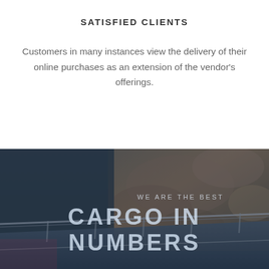SATISFIED CLIENTS
Customers in many instances view the delivery of their online purchases as an extension of the vendor's offerings.
[Figure (photo): A dark-toned photograph of a highway road with a guardrail in the foreground and rocky cliffs in the background, overlaid with text about cargo.]
WE ARE THE BEST
CARGO IN NUMBERS